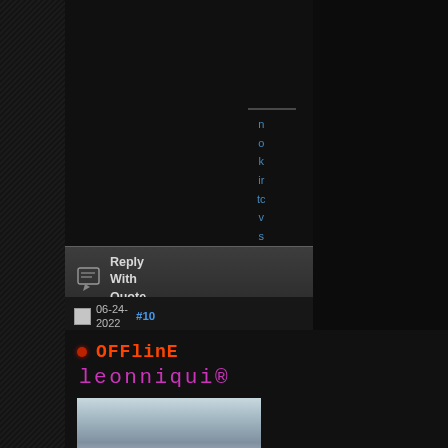[Figure (screenshot): Forum page screenshot showing a dark-themed web forum. Left sidebar has dark textured column. Center column shows a 'Reply With Quote' button with quote icon, and a post metadata row with date '06-24-2022' and post number '#10'. A user profile section shows 'OFFLINE' status in orange on dark background, username 'leonniqui®' in pink/magenta, and a partial avatar photo of a person. Right side has a vertical sidebar with letters 'n o k ir tc v s' in blue text.]